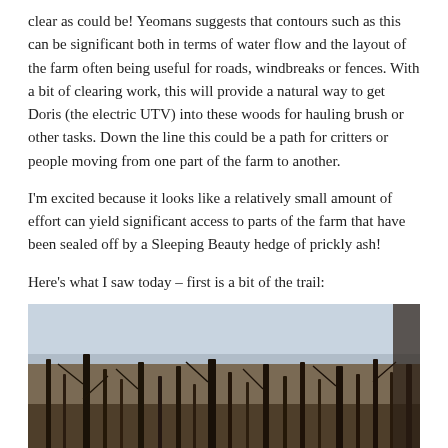clear as could be! Yeomans suggests that contours such as this can be significant both in terms of water flow and the layout of the farm often being useful for roads, windbreaks or fences. With a bit of clearing work, this will provide a natural way to get Doris (the electric UTV) into these woods for hauling brush or other tasks. Down the line this could be a path for critters or people moving from one part of the farm to another.
I'm excited because it looks like a relatively small amount of effort can yield significant access to parts of the farm that have been sealed off by a Sleeping Beauty hedge of prickly ash!
Here's what I saw today – first is a bit of the trail:
[Figure (photo): Winter woodland scene with bare deciduous trees, dark trunks and branches against snow-covered ground. The photo shows a trail or contour line through the woods, with snow on the ground and overcast sky visible through the branches.]